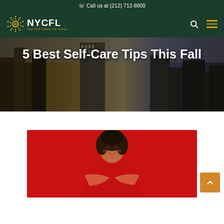Call us at (212) 712-8800
[Figure (logo): NYCFL New York Center For Living logo with sun/eye icon]
5 Best Self-Care Tips This Fall
[Figure (photo): Woman in red dress hugging herself against a red background, smiling with eyes closed]